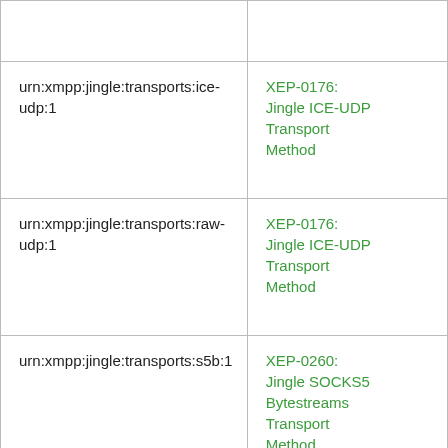| urn:xmpp:jingle:transports:ice-udp:1 | XEP-0176: Jingle ICE-UDP Transport Method |
| urn:xmpp:jingle:transports:raw-udp:1 | XEP-0176: Jingle ICE-UDP Transport Method |
| urn:xmpp:jingle:transports:s5b:1 | XEP-0260: Jingle SOCKS5 Bytestreams Transport Method |
| urn:xmpp:langtrans | XEP-0171: Language... |